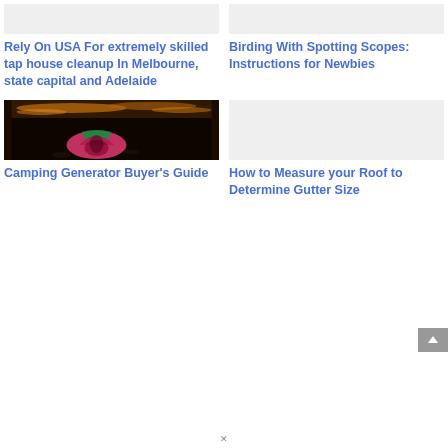[Figure (photo): Placeholder image for top-left article]
[Figure (photo): Placeholder image for top-right article]
Rely On USA For extremely skilled tap house cleanup In Melbourne, state capital and Adelaide
Birding With Spotting Scopes: Instructions for Newbies
[Figure (photo): Dark night camping scene with pink and green tent near glowing water]
[Figure (photo): Placeholder image for bottom-right article]
Camping Generator Buyer's Guide
How to Measure your Roof to Determine Gutter Size